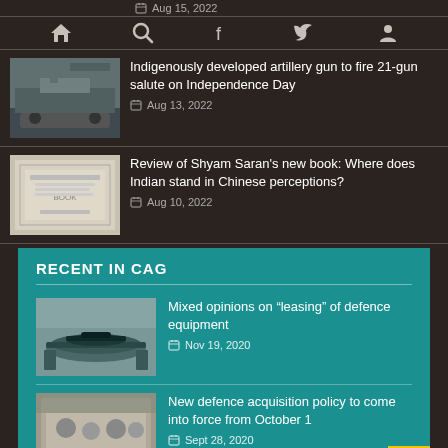Aug 15, 2022
[Figure (screenshot): Navigation bar with home, search, facebook, twitter, and user icons]
[Figure (photo): Artillery gun truck photo]
Indigenously developed artillery gun to fire 21-gun salute on Independence Day
Aug 13, 2022
[Figure (photo): Book cover photo for Shyam Saran's new book]
Review of Shyam Saran's new book: Where does Indian stand in Chinese perceptions?
Aug 10, 2022
RECENT IN CAG
[Figure (photo): Submarine photo]
Mixed opinions on “leasing” of defence equipment
Nov 19, 2020
[Figure (photo): Group photo of defence officials]
New defence acquisition policy to come into force from October 1
Sept 28, 2020